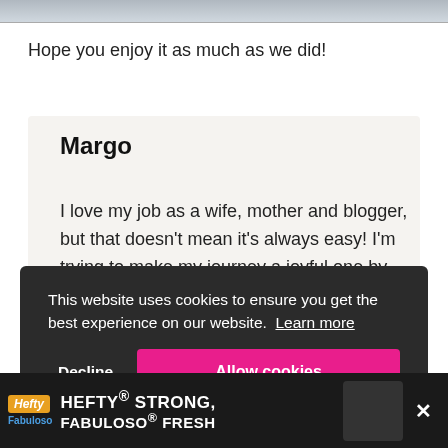[Figure (photo): Top strip of a photo, cropped — appears to show an outdoor or food scene with grey-blue tones]
Hope you enjoy it as much as we did!
Margo
I love my job as a wife, mother and blogger, but that doesn't mean it's always easy! I'm trying to make my journey a joyful one by
This website uses cookies to ensure you get the best experience on our website. Learn more
Decline
Allow cookies
[Figure (infographic): Hefty Strong Fabuloso Fresh advertisement banner at the bottom of the page]